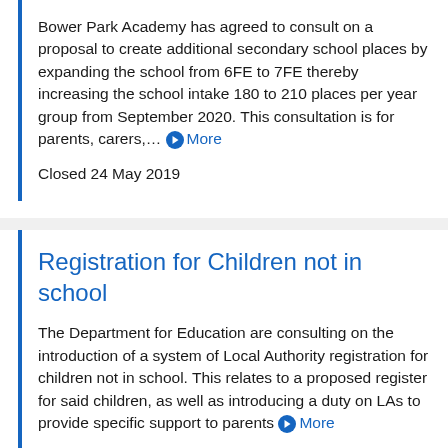Bower Park Academy has agreed to consult on a proposal to create additional secondary school places by expanding the school from 6FE to 7FE thereby increasing the school intake 180 to 210 places per year group from September 2020. This consultation is for parents, carers,... More
Closed 24 May 2019
Registration for Children not in school
The Department for Education are consulting on the introduction of a system of Local Authority registration for children not in school. This relates to a proposed register for said children, as well as introducing a duty on LAs to provide specific support to parents More